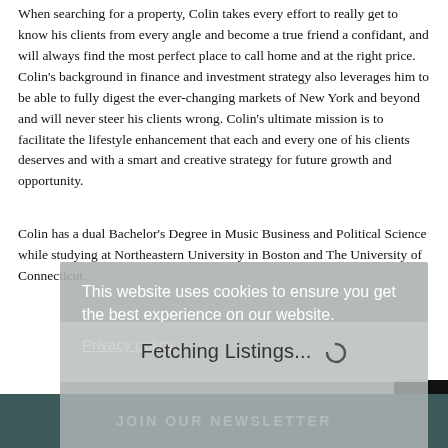When searching for a property, Colin takes every effort to really get to know his clients from every angle and become a true friend a confidant, and will always find the most perfect place to call home and at the right price. Colin's background in finance and investment strategy also leverages him to be able to fully digest the ever-changing markets of New York and beyond and will never steer his clients wrong. Colin's ultimate mission is to facilitate the lifestyle enhancement that each and every one of his clients deserves and with a smart and creative strategy for future growth and opportunity.
Colin has a dual Bachelor's Degree in Music Business and Political Science while studying at Northeastern University in Boston and The University of Connecticut.
This website uses cookies to ensure you get the best experience on our website.
Privacy policy
Fetching Listings...
JOIN OUR NEWSLETTER